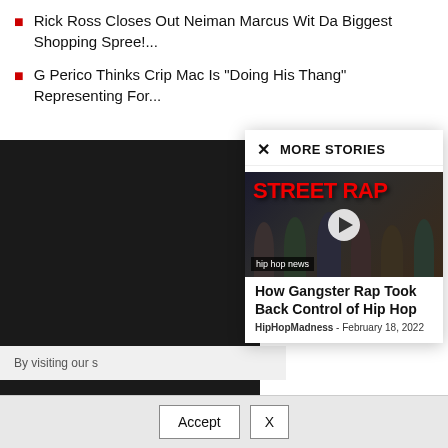Rick Ross Closes Out Neiman Marcus Wit Da Biggest Shopping Spree!...
G Perico Thinks Crip Mac Is "Doing His Thang" Representing For...
[Figure (screenshot): Modal popup with MORE STORIES heading, showing a Street Rap video thumbnail with multiple hip hop artists and a play button, labeled 'hip hop news']
How Gangster Rap Took Back Control of Hip Hop
HipHopMadness - February 18, 2022
By visiting our s
Accept  X